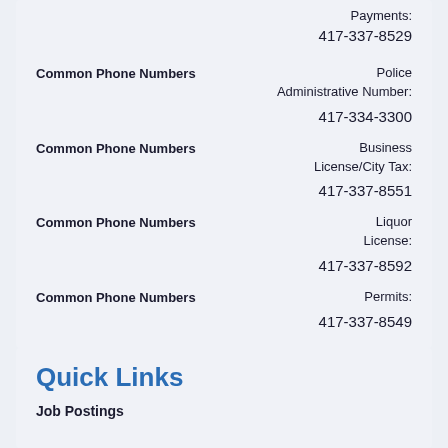Payments: 417-337-8529
Common Phone Numbers — Police Administrative Number: 417-334-3300
Common Phone Numbers — Business License/City Tax: 417-337-8551
Common Phone Numbers — Liquor License: 417-337-8592
Common Phone Numbers — Permits: 417-337-8549
Quick Links
Job Postings